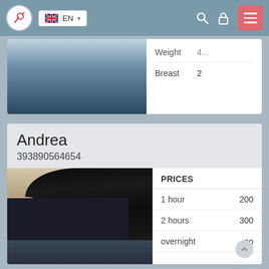EN
|  |  |
| --- | --- |
| Weight | 4... |
| Breast | 2 |
Andrea
393890564654
[Figure (photo): Photo of a woman with long dark hair, wearing a black top, viewed from behind/side]
| PRICES |  |
| --- | --- |
| 1 hour | 200 |
| 2 hours | 300 |
| overnight | no |
| Age | 29 |
| Height | 166 |
| Weight | 57 |
| Breast | 3 |